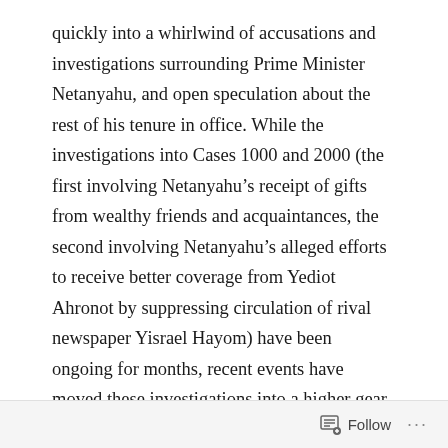quickly into a whirlwind of accusations and investigations surrounding Prime Minister Netanyahu, and open speculation about the rest of his tenure in office. While the investigations into Cases 1000 and 2000 (the first involving Netanyahu's receipt of gifts from wealthy friends and acquaintances, the second involving Netanyahu's alleged efforts to receive better coverage from Yediot Ahronot by suppressing circulation of rival newspaper Yisrael Hayom) have been ongoing for months, recent events have moved these investigations into a higher gear.
On Friday, Netanyahu's former chief of staff and bureau chief Ari Harow agreed to become a state's
Follow ···